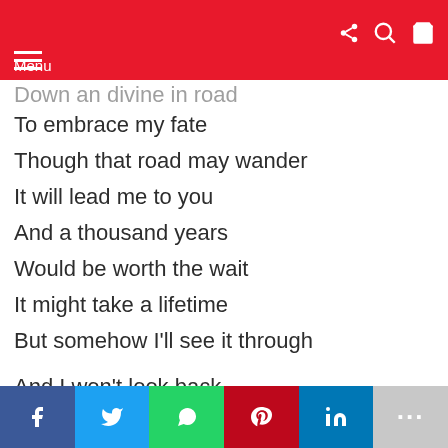Menu
Down an divine in road
To embrace my fate
Though that road may wander
It will lead me to you
And a thousand years
Would be worth the wait
It might take a lifetime
But somehow I'll see it through
And I won't look back
I can go the distance
And I'll stay on track
f  twitter  whatsapp  pinterest  in  ...